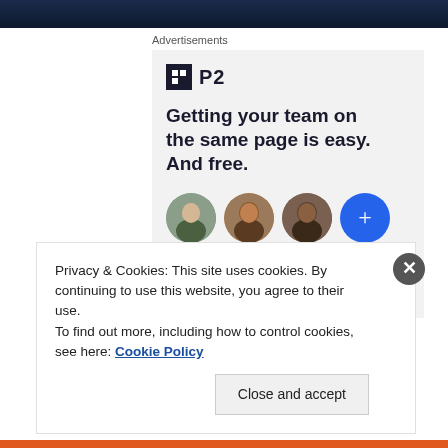[Figure (photo): Dark blue/navy background image at the top of the page]
Advertisements
[Figure (infographic): Advertisement for P2 product showing logo, headline 'Getting your team on the same page is easy. And free.' with three person avatars and a blue plus button]
Privacy & Cookies: This site uses cookies. By continuing to use this website, you agree to their use.
To find out more, including how to control cookies, see here: Cookie Policy
Close and accept